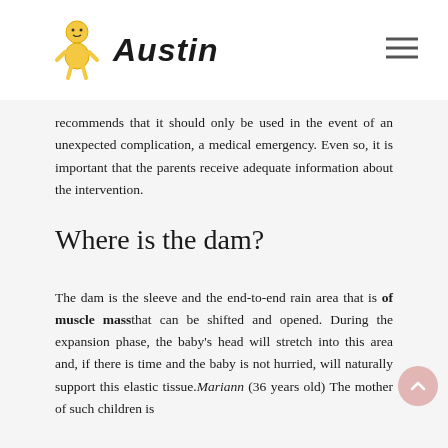Austin
recommends that it should only be used in the event of an unexpected complication, a medical emergency. Even so, it is important that the parents receive adequate information about the intervention.
Where is the dam?
The dam is the sleeve and the end-to-end rain area that is of muscle mass that can be shifted and opened. During the expansion phase, the baby's head will stretch into this area and, if there is time and the baby is not hurried, will naturally support this elastic tissue. Mariann (36 years old) The mother of such children is